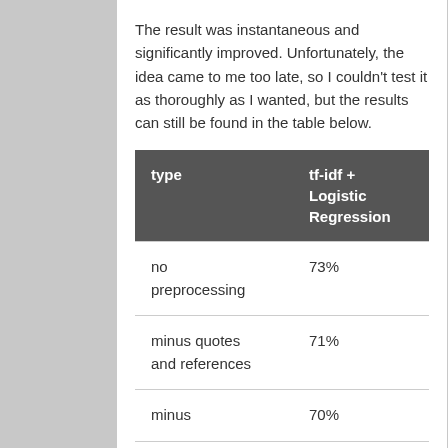The result was instantaneous and significantly improved. Unfortunately, the idea came to me too late, so I couldn't test it as thoroughly as I wanted, but the results can still be found in the table below.
| type | tf-idf + Logistic Regression |
| --- | --- |
| no preprocessing | 73% |
| minus quotes and references | 71% |
| minus | 70% |